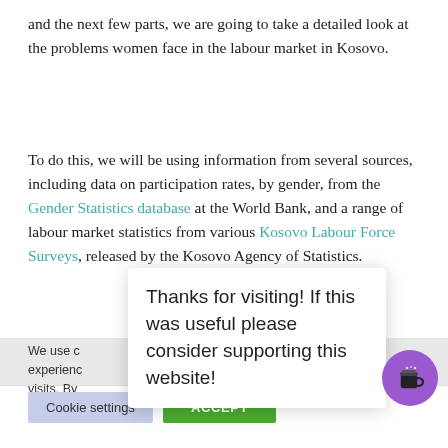and the next few parts, we are going to take a detailed look at the problems women face in the labour market in Kosovo.
To do this, we will be using information from several sources, including data on participation rates, by gender, from the Gender Statistics database at the World Bank, and a range of labour market statistics from various Kosovo Labour Force Surveys, released by the Kosovo Agency of Statistics.
Thanks for visiting! If this was useful please consider supporting this website!
We use c[ookies on our website to give you the most relevant experienc[e by remembering your preferences and repeat visits. By [clicking "Accept", you consent to the use of cookies.
Cookie settings   ACCEPT